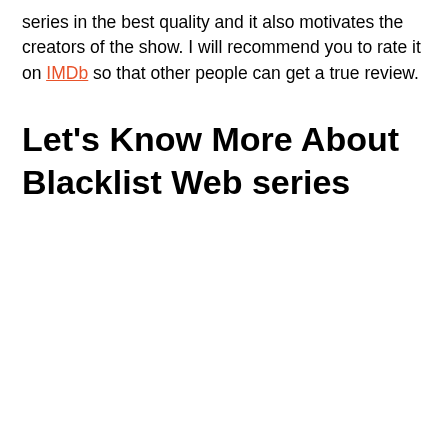series in the best quality and it also motivates the creators of the show. I will recommend you to rate it on IMDb so that other people can get a true review.
Let's Know More About Blacklist Web series